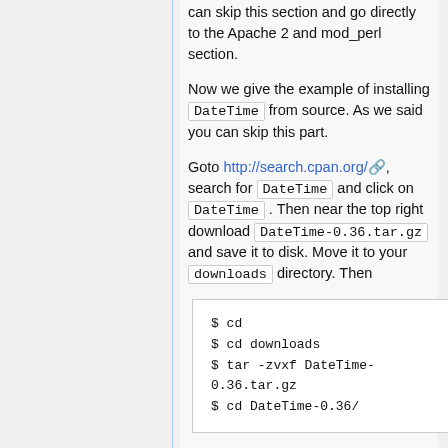can skip this section and go directly to the Apache 2 and mod_perl section.
Now we give the example of installing DateTime from source. As we said you can skip this part.
Goto http://search.cpan.org/, search for DateTime and click on DateTime . Then near the top right download DateTime-0.36.tar.gz and save it to disk. Move it to your downloads directory. Then
$ cd
$ cd downloads
$ tar -zvxf DateTime-0.36.tar.gz
$ cd DateTime-0.36/